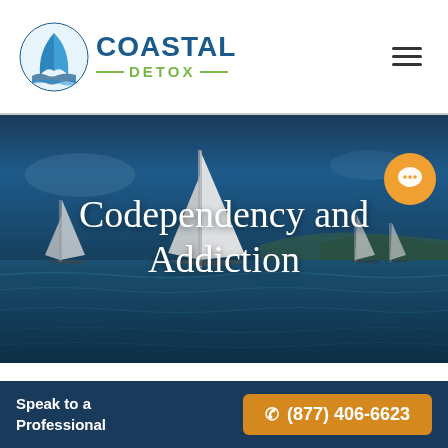[Figure (logo): Coastal Detox logo with sailboat icon and green/blue text]
[Figure (photo): Sailboats on dark blue ocean water with hero text overlay: Codependency and Addiction]
Codependency and Addiction
[Figure (other): Orange circular chat/message button in lower right of hero image]
Speak to a Professional
(877) 406-6623